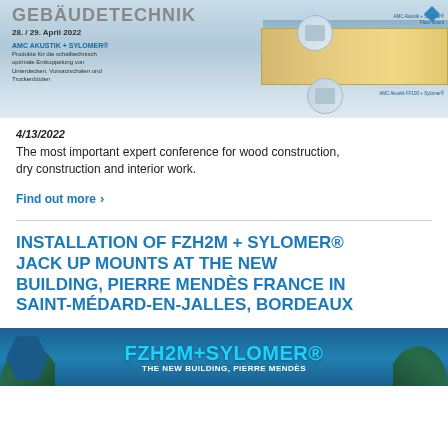[Figure (photo): Advertisement banner for AMC Akustik + Sylomer at Gebäudetechnik trade event, 28./29. April 2022, showing building construction product illustration with circular detail images]
4/13/2022
The most important expert conference for wood construction, dry construction and interior work.
Find out more >
INSTALLATION OF FZH2M + SYLOMER® JACK UP MOUNTS AT THE NEW BUILDING, PIERRE MENDÈS FRANCE IN SAINT-MÉDARD-EN-JALLES, BORDEAUX
[Figure (photo): FZH2M+SYLOMER® banner image with text 'THE NEW BUILDING, PIERRE MENDÈS' with blue hexagon shape and trees in background]